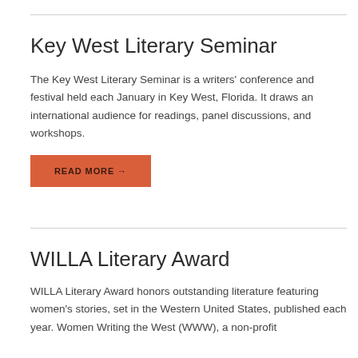Key West Literary Seminar
The Key West Literary Seminar is a writers' conference and festival held each January in Key West, Florida. It draws an international audience for readings, panel discussions, and workshops.
READ MORE →
WILLA Literary Award
WILLA Literary Award honors outstanding literature featuring women's stories, set in the Western United States, published each year. Women Writing the West (WWW), a non-profit